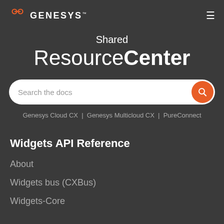GENESYS
Shared ResourceCenter
Search the docs
Genesys Cloud CX | Genesys Multicloud CX | PureConnect
Widgets API Reference
About
Widgets bus (CXBus)
Widgets-Core